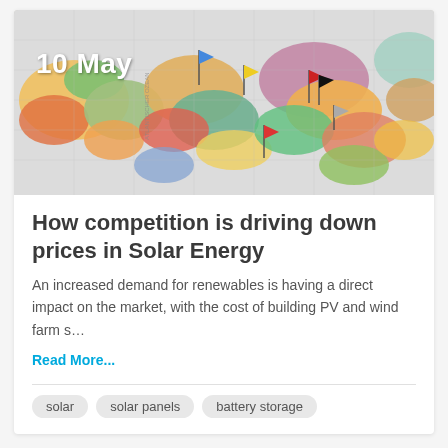[Figure (photo): Colorful political map with push pins/flags marking various locations, viewed at an angle. Flags include blue, red, yellow, and black colors.]
How competition is driving down prices in Solar Energy
An increased demand for renewables is having a direct impact on the market, with the cost of building PV and wind farm s…
Read More...
solar
solar panels
battery storage